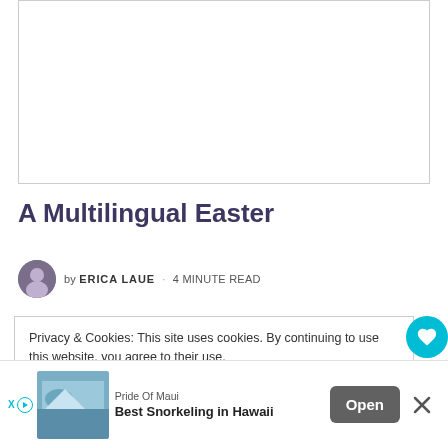[Figure (photo): Empty white image placeholder with light grey border at top of page]
A Multilingual Easter
by ERICA LAUE · 4 MINUTE READ
Privacy & Cookies: This site uses cookies. By continuing to use this website, you agree to their use.
To find out more, including how to control cookies, see here:
Cookie Policy
[Figure (infographic): Advertisement bar at bottom: Pride Of Maui - Best Snorkeling in Hawaii, with Open button and close X button]